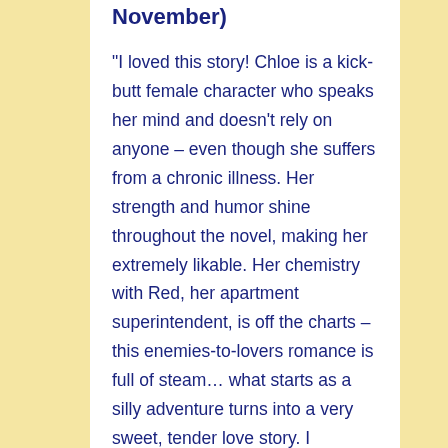November)
"I loved this story! Chloe is a kick-butt female character who speaks her mind and doesn't rely on anyone – even though she suffers from a chronic illness. Her strength and humor shine throughout the novel, making her extremely likable. Her chemistry with Red, her apartment superintendent, is off the charts – this enemies-to-lovers romance is full of steam… what starts as a silly adventure turns into a very sweet, tender love story. I devoured this one in just one day – would definitely recommend."
— SheReads.com (Best